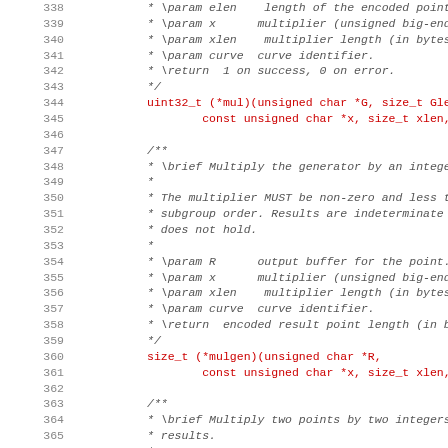[Figure (screenshot): Source code listing showing C API documentation comments and function declarations for elliptic curve cryptography operations, lines 338-370]